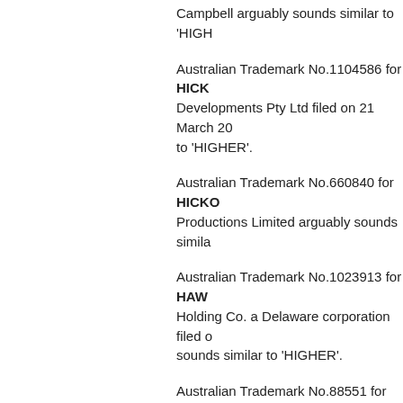Campbell arguably sounds similar to 'HIGH...
Australian Trademark No.1104586 for HICK... Developments Pty Ltd filed on 21 March 20... to 'HIGHER'.
Australian Trademark No.660840 for HICKO... Productions Limited arguably sounds simila...
Australian Trademark No.1023913 for HAW... Holding Co. a Delaware corporation filed o... sounds similar to 'HIGHER'.
Australian Trademark No.88551 for HYCAR... Materials, Inc. 9911 Brecksville Road Cleve... UNITED STATES OF AMERICA arguably s...
Australian Trademark No.310252 for HYCA... Materials, Inc. 9911 Brecksville Road Cleve... UNITED STATES OF AMERICA arguably s...
Australian Trademark No.99699 for HICKO... Birmingham Road East Tamaki Auckland N... sounds similar to 'HIGHER'.
Australian Trademark No.200715 for HICKO...